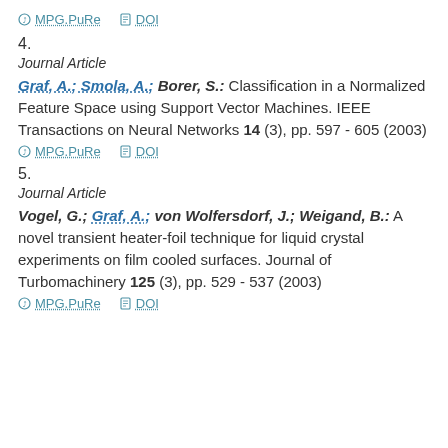MPG.PuRe   DOI
4.
Journal Article
Graf, A.; Smola, A.; Borer, S.: Classification in a Normalized Feature Space using Support Vector Machines. IEEE Transactions on Neural Networks 14 (3), pp. 597 - 605 (2003)
MPG.PuRe   DOI
5.
Journal Article
Vogel, G.; Graf, A.; von Wolfersdorf, J.; Weigand, B.: A novel transient heater-foil technique for liquid crystal experiments on film cooled surfaces. Journal of Turbomachinery 125 (3), pp. 529 - 537 (2003)
MPG.PuRe   DOI